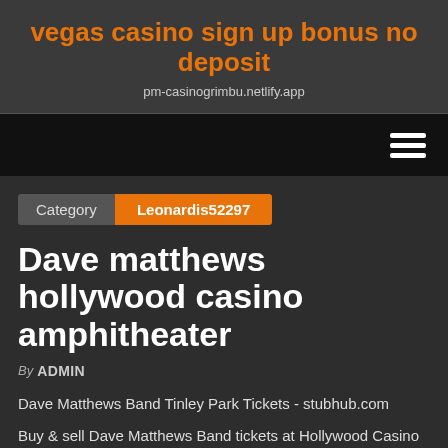vegas casino sign up bonus no deposit
pm-casinogrimbu.netlify.app
[Figure (other): Navigation bar with hamburger menu icon on the right]
Category  Leonardis52297
Dave matthews hollywood casino amphitheater
By ADMIN
Dave Matthews Band Tinley Park Tickets - stubhub.com
Buy & sell Dave Matthews Band tickets at Hollywood Casino Amphitheatre, Tinley Park on viagogo, an online ticket